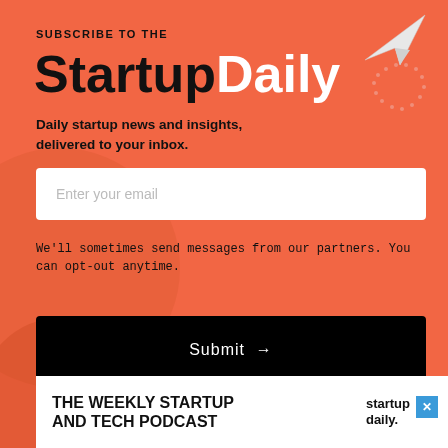SUBSCRIBE TO THE
StartupDaily
Daily startup news and insights, delivered to your inbox.
Enter your email
We'll sometimes send messages from our partners. You can opt-out anytime.
Submit →
THE WEEKLY STARTUP AND TECH PODCAST
startup daily.